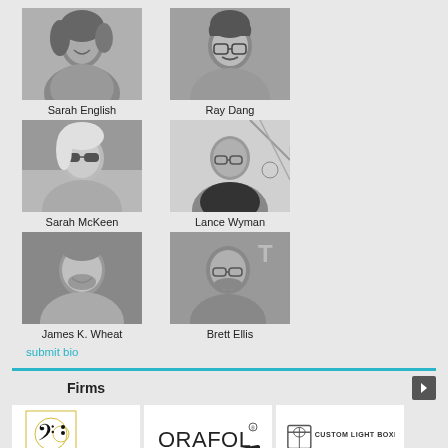[Figure (photo): Black and white headshot of Sarah English]
Sarah English
[Figure (photo): Black and white headshot of Ray Dang]
Ray Dang
[Figure (photo): Black and white headshot of Sarah McKeen]
Sarah McKeen
[Figure (photo): Black and white headshot of Lance Wyman]
Lance Wyman
[Figure (photo): Black and white headshot of James K. Wheat]
James K. Wheat
[Figure (photo): Black and white headshot of Brett Ellis]
Brett Ellis
submit bio
Firms
[Figure (logo): SH Acoustics logo with bass clef and golden ratio spiral]
[Figure (logo): ORAFOL logo]
[Figure (logo): Custom Light Boxes logo]
[Figure (logo): Partially visible logo at bottom left]
JACK BRYCE
[Figure (logo): Partially visible circular logo at bottom right]